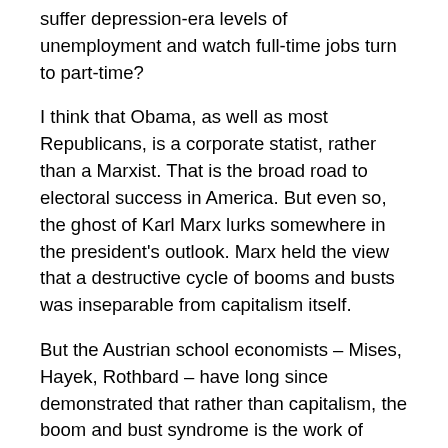suffer depression-era levels of unemployment and watch full-time jobs turn to part-time?
I think that Obama, as well as most Republicans, is a corporate statist, rather than a Marxist. That is the broad road to electoral success in America. But even so, the ghost of Karl Marx lurks somewhere in the president's outlook. Marx held the view that a destructive cycle of booms and busts was inseparable from capitalism itself.
But the Austrian school economists – Mises, Hayek, Rothbard – have long since demonstrated that rather than capitalism, the boom and bust syndrome is the work of central bankers and their distortion of money and credit conditions.
Obama knows none of this.
[amazon asin=B0058M7KEY&template=*lrc ad (right)]
Focus-group tested talking points aren't the only thing